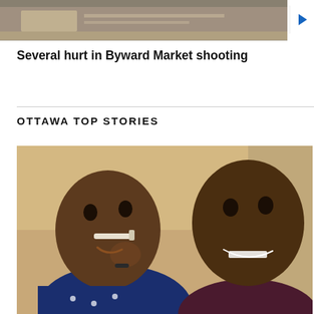[Figure (photo): Top image showing a news video thumbnail of an indoor scene, with a play button overlay on the right side.]
Several hurt in Byward Market shooting
OTTAWA TOP STORIES
[Figure (photo): Photo of a smiling adult man and a young child with a nasal feeding tube, appearing to be in a hospital setting. The child wears a dark blue outfit and the adult wears a dark patterned shirt.]